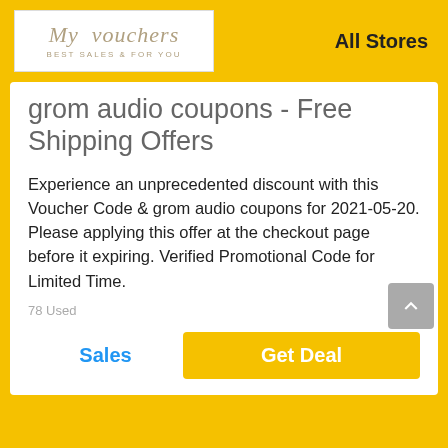My vouchers — BEST SALES & FOR YOU — All Stores
grom audio coupons - Free Shipping Offers
Experience an unprecedented discount with this Voucher Code & grom audio coupons for 2021-05-20. Please applying this offer at the checkout page before it expiring. Verified Promotional Code for Limited Time.
78 Used
Sales
Get Deal